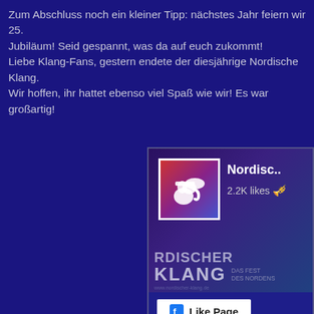Zum Abschluss noch ein kleiner Tipp: nächstes Jahr feiern wir 25. Jubiläum! Seid gespannt, was da auf euch zukommt! Liebe Klang-Fans, gestern endete der diesjährige Nordische Klang. Wir hoffen, ihr hattet ebenso viel Spaß wie wir! Es war großartig!
[Figure (screenshot): Facebook Like Page widget showing 'Nordisc...' page with 2.2K likes, logo with white elephant/horn silhouette on colorful background, 'RDISCHER KLANG DAS FEST DES NORDENS' banner text, and a 'Like Page' button]